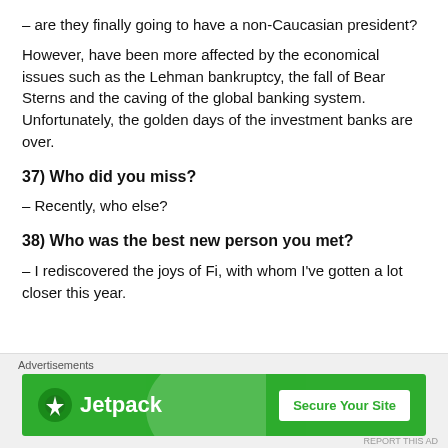– are they finally going to have a non-Caucasian president?
However, have been more affected by the economical issues such as the Lehman bankruptcy, the fall of Bear Sterns and the caving of the global banking system. Unfortunately, the golden days of the investment banks are over.
37) Who did you miss?
– Recently, who else?
38) Who was the best new person you met?
– I rediscovered the joys of Fi, with whom I've gotten a lot closer this year.
[Figure (infographic): Advertisement banner for Jetpack plugin with green background, Jetpack logo, and 'Secure Your Site' button. Labeled 'Advertisements' above and preceded by a close (X) icon.]